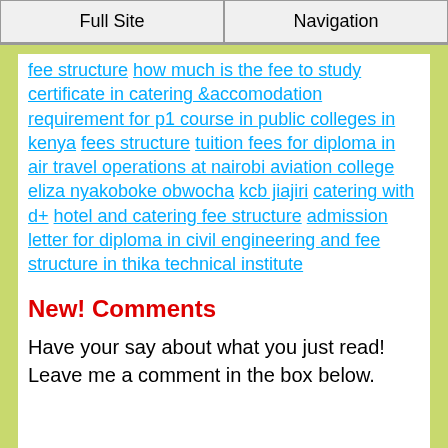Full Site | Navigation
fee structure how much is the fee to study certificate in catering &accomodation requirement for p1 course in public colleges in kenya fees structure tuition fees for diploma in air travel operations at nairobi aviation college eliza nyakoboke obwocha kcb jiajiri catering with d+ hotel and catering fee structure admission letter for diploma in civil engineering and fee structure in thika technical institute
New! Comments
Have your say about what you just read! Leave me a comment in the box below.